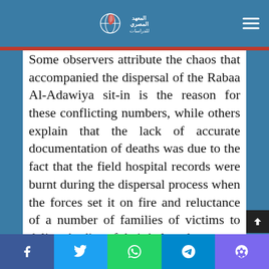Al-Masri Institute for Studies - navigation bar with logo
Some observers attribute the chaos that accompanied the dispersal of the Rabaa Al-Adawiya sit-in is the reason for these conflicting numbers, while others explain that the lack of accurate documentation of deaths was due to the fact that the field hospital records were burnt during the dispersal process when the forces set it on fire and reluctance of a number of families of victims to deliver bodies of their beloved ones